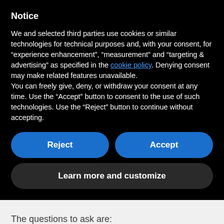Notice
We and selected third parties use cookies or similar technologies for technical purposes and, with your consent, for “experience enhancement”, “measurement” and “targeting & advertising” as specified in the cookie policy. Denying consent may make related features unavailable.
You can freely give, deny, or withdraw your consent at any time. Use the “Accept” button to consent to the use of such technologies. Use the “Reject” button to continue without accepting.
Reject
Accept
Learn more and customize
The questions to ask are: